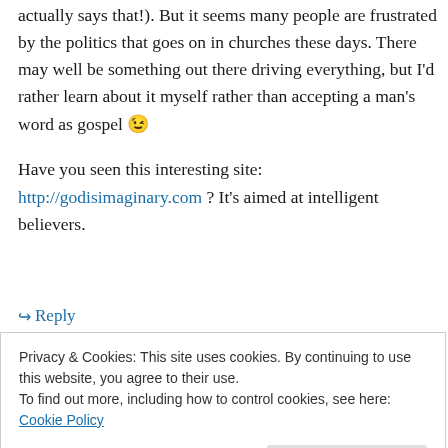you create entries about words you make up (it actually says that!). But it seems many people are frustrated by the politics that goes on in churches these days. There may well be something out there driving everything, but I'd rather learn about it myself rather than accepting a man's word as gospel 😉
Have you seen this interesting site: http://godisimaginary.com ? It's aimed at intelligent believers.
↳ Reply
Privacy & Cookies: This site uses cookies. By continuing to use this website, you agree to their use. To find out more, including how to control cookies, see here: Cookie Policy
Close and accept
…nt or like, as this is an intelligent believers…